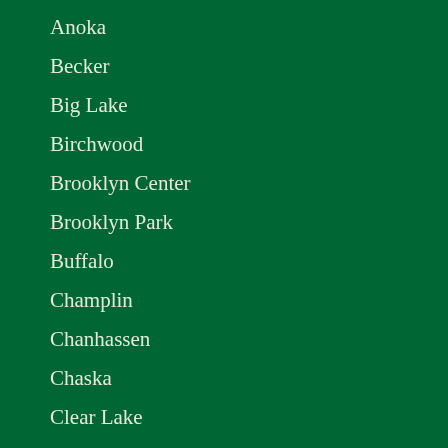Anoka
Becker
Big Lake
Birchwood
Brooklyn Center
Brooklyn Park
Buffalo
Champlin
Chanhassen
Chaska
Clear Lake
Clearwater